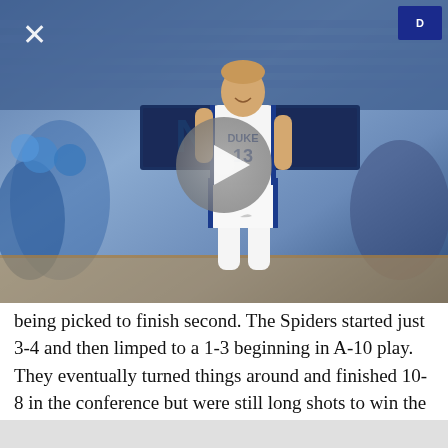[Figure (photo): Duke basketball player wearing jersey number 13 smiling on court, cheerleaders and crowd in background, arena setting with NIS signage visible, play button overlay in center, close X button top left, Duke logo top right]
being picked to finish second. The Spiders started just 3-4 and then limped to a 1-3 beginning in A-10 play. They eventually turned things around and finished 10-8 in the conference but were still long shots to win the conference tournament. Ultimately, after defeating Rhode Island in a first